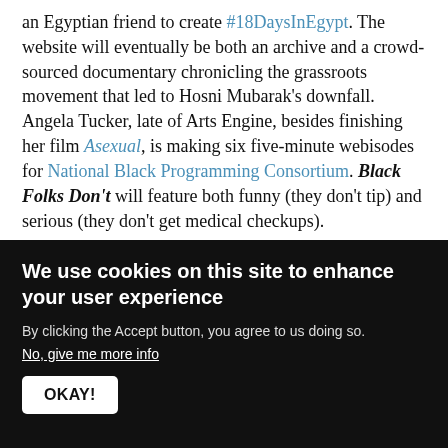an Egyptian friend to create #18DaysInEgypt. The website will eventually be both an archive and a crowd-sourced documentary chronicling the grassroots movement that led to Hosni Mubarak's downfall. Angela Tucker, late of Arts Engine, besides finishing her film Asexual, is making six five-minute webisodes for National Black Programming Consortium. Black Folks Don't will feature both funny (they don't tip) and serious (they don't get medical checkups).
On the transmedia front, the National Film Board of Canada's Rob McLaughlin showcased a rich set of experiments online, including the disturbing "The Test
We use cookies on this site to enhance your user experience
By clicking the Accept button, you agree to us doing so.
No, give me more info
OKAY!